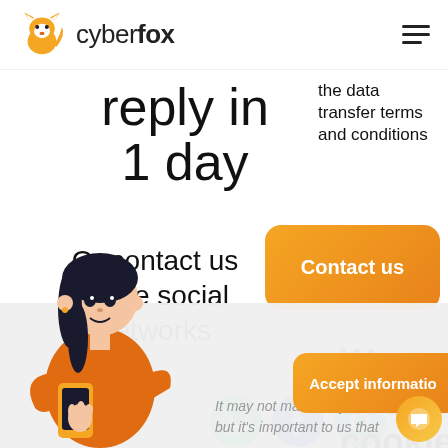[Figure (logo): Cyberfox orange fox logo with text 'cyberfox' and hamburger menu icon]
reply in 1 day
the data transfer terms and conditions
[Figure (illustration): Orange button with text 'Contact us']
Or contact us in the social networks
We use cookie
[Figure (illustration): Social network icons: WhatsApp (green), Facebook (blue), and another blue icon]
[Figure (illustration): Illustration of a woman in orange dress using smartphone]
It may not matter to you, but it's important to us that
[Figure (illustration): Orange 'Accept information' button (partially visible)]
[Figure (illustration): Orange circular chat bubble button]